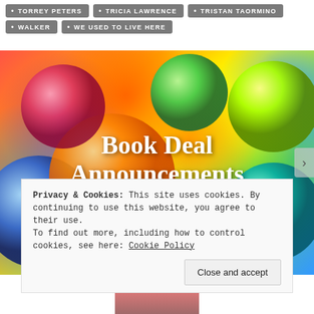TORREY PETERS
TRICIA LAWRENCE
TRISTAN TAORMINO
WALKER
WE USED TO LIVE HERE
[Figure (photo): Colorful abstract background with bubbles/spheres in vibrant rainbow colors (red, orange, yellow, green, blue), serving as the background for a Book Deal Announcements banner.]
Book Deal Announcements
Privacy & Cookies: This site uses cookies. By continuing to use this website, you agree to their use.
To find out more, including how to control cookies, see here: Cookie Policy
Close and accept